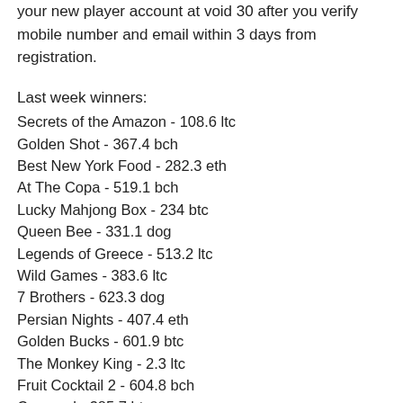your new player account at void 30 after you verify mobile number and email within 3 days from registration.
Last week winners:
Secrets of the Amazon - 108.6 ltc
Golden Shot - 367.4 bch
Best New York Food - 282.3 eth
At The Copa - 519.1 bch
Lucky Mahjong Box - 234 btc
Queen Bee - 331.1 dog
Legends of Greece - 513.2 ltc
Wild Games - 383.6 ltc
7 Brothers - 623.3 dog
Persian Nights - 407.4 eth
Golden Bucks - 601.9 btc
The Monkey King - 2.3 ltc
Fruit Cocktail 2 - 604.8 bch
Carousel - 385.7 btc
Fruitastic - 262.6 btc